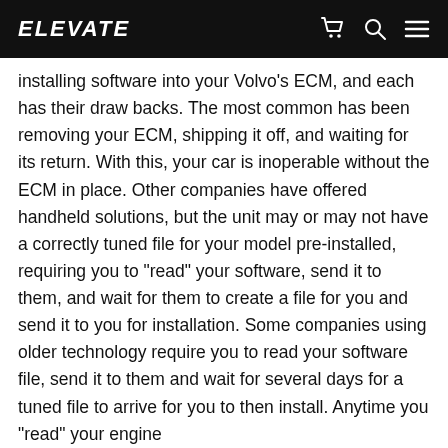ELEVATE
installing software into your Volvo's ECM, and each has their draw backs. The most common has been removing your ECM, shipping it off, and waiting for its return. With this, your car is inoperable without the ECM in place. Other companies have offered handheld solutions, but the unit may or may not have a correctly tuned file for your model pre-installed, requiring you to "read" your software, send it to them, and wait for them to create a file for you and send it to you for installation. Some companies using older technology require you to read your software file, send it to them and wait for several days for a tuned file to arrive for you to then install. Anytime you "read" your engine